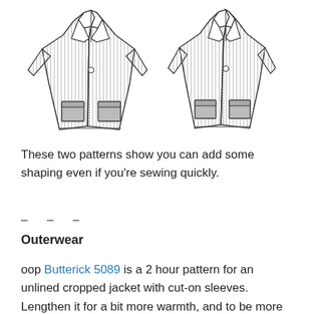[Figure (illustration): Two line-drawing illustrations of a women's unlined cropped jacket pattern, shown front view side by side. Each jacket has notched lapels, two patch pockets at the hem, a single button closure, and cut-on sleeves. The fabric is shown with vertical stripe/hatch lines.]
These two patterns show you can add some shaping even if you're sewing quickly.
– – –
Outerwear
oop Butterick 5089 is a 2 hour pattern for an unlined cropped jacket with cut-on sleeves. Lengthen it for a bit more warmth, and to be more flattering for some of us. Waist length jackets (or just above it) are 'in' for the coming winter.